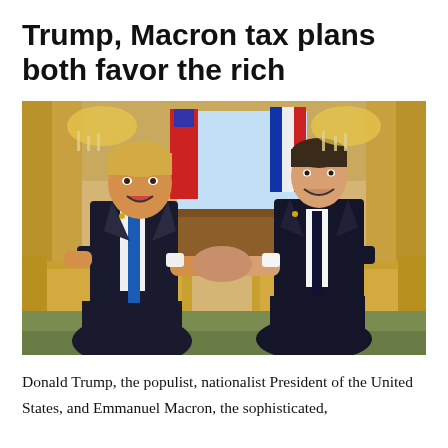Trump, Macron tax plans both favor the rich
[Figure (photo): Donald Trump and Emmanuel Macron shaking hands while seated in ornate gold chairs in an elegant room with flags of the United States and France in the background.]
Donald Trump, the populist, nationalist President of the United States, and Emmanuel Macron, the sophisticated,